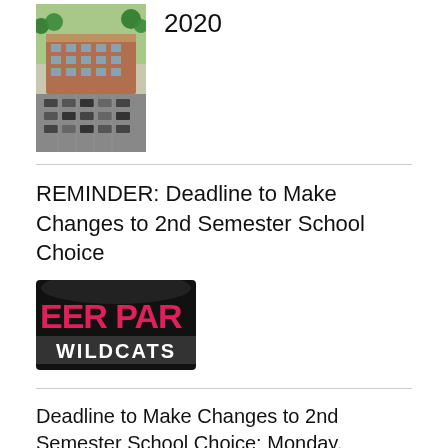[Figure (photo): Aerial photo of a multi-story brick building with a parking lot]
2020
REMINDER: Deadline to Make Changes to 2nd Semester School Choice
[Figure (logo): Deer Park Wildcats school logo — black banner with pink text 'EER PAR' and 'WILDCATS' below]
Deadline to Make Changes to 2nd Semester School Choice: Monday, November 30, 2020
[Figure (logo): Deer Park Wildcats partial logo at bottom left]
[Figure (other): Accessibility icon — grey circle with human figure]